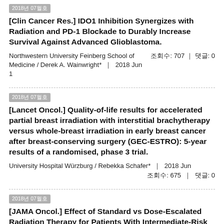2018년 07월호 [Clin Cancer Res.] IDO1 Inhibition Synergizes with Radiation and PD-1 Blockade to Durably Increase Survival Against Advanced Glioblastoma. Northwestern University Feinberg School of Medicine / Derek A. Wainwright* | 2018 Jun 1 조회수: 707 | 댓글: 0
2018년 07월호 [Lancet Oncol.] Quality-of-life results for accelerated partial breast irradiation with interstitial brachytherapy versus whole-breast irradiation in early breast cancer after breast-conserving surgery (GEC-ESTRO): 5-year results of a randomised, phase 3 trial. University Hospital Würzburg / Rebekka Schafer* | 2018 Jun 조회수: 675 | 댓글: 0
2018년 07월호 [JAMA Oncol.] Effect of Standard vs Dose-Escalated Radiation Therapy for Patients With Intermediate-Risk Prostate Cancer: The NRG Oncology RTOG 0126 Randomized Clinical Trial.